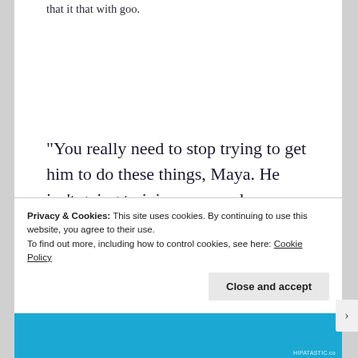that it that with goo.
“You really need to stop trying to get him to do these things, Maya. He isn’t going to join you, you know that.” Arnav chuckled as he sat next to Mohan. “But if it makes you feel any better, you are
Privacy & Cookies: This site uses cookies. By continuing to use this website, you agree to their use.
To find out more, including how to control cookies, see here: Cookie Policy
Close and accept